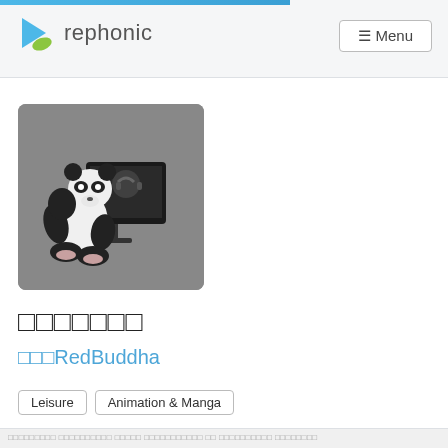rephonic  ☰ Menu
[Figure (illustration): A cartoon panda sitting in front of a computer monitor on a gray background. The panda appears to be watching the screen which shows a figure with headphones.]
□□□□□□□
□□□RedBuddha
Leisure
Animation & Manga
□□□□□□□□□ □□□□□□□□□□ □□□□□ □□□□□□□□□□□ □□ □□□□□□□□□□ □□□□□□□□